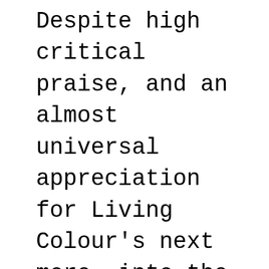Despite high critical praise, and an almost universal appreciation for Living Colour's next more, into the darker regions